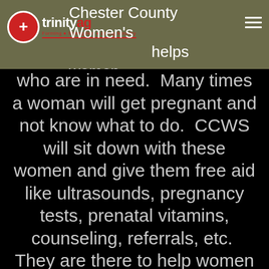Chester County Women's [logo: trinity ag] helps women
who are in need. Many times a woman will get pregnant and not know what to do. CCWS will sit down with these women and give them free aid like ultrasounds, pregnancy tests, prenatal vitamins, counseling, referrals, etc. They are there to help women understand they have a choice and to save